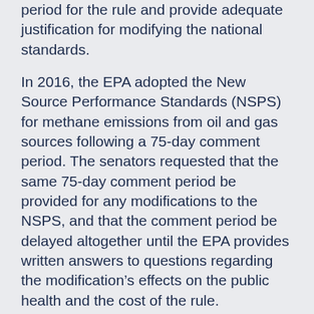period for the rule and provide adequate justification for modifying the national standards.
In 2016, the EPA adopted the New Source Performance Standards (NSPS) for methane emissions from oil and gas sources following a 75-day comment period. The senators requested that the same 75-day comment period be provided for any modifications to the NSPS, and that the comment period be delayed altogether until the EPA provides written answers to questions regarding the modification's effects on the public health and the cost of the rule.
“There is clear and compelling evidence that the current NSPS rulemaking is cost-effective, improves air quality, and increases public health,” the senators